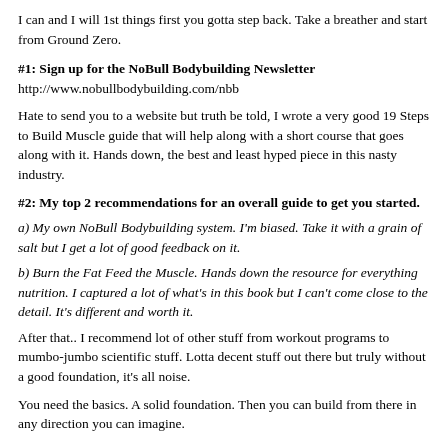I can and I will 1st things first you gotta step back. Take a breather and start from Ground Zero.
#1: Sign up for the NoBull Bodybuilding Newsletter
http://www.nobullbodybuilding.com/nbb
Hate to send you to a website but truth be told, I wrote a very good 19 Steps to Build Muscle guide that will help along with a short course that goes along with it. Hands down, the best and least hyped piece in this nasty industry.
#2: My top 2 recommendations for an overall guide to get you started.
a) My own NoBull Bodybuilding system. I'm biased. Take it with a grain of salt but I get a lot of good feedback on it.
b) Burn the Fat Feed the Muscle. Hands down the resource for everything nutrition. I captured a lot of what's in this book but I can't come close to the detail. It's different and worth it.
After that.. I recommend lot of other stuff from workout programs to mumbo-jumbo scientific stuff. Lotta decent stuff out there but truly without a good foundation, it's all noise.
You need the basics. A solid foundation. Then you can build from there in any direction you can imagine.